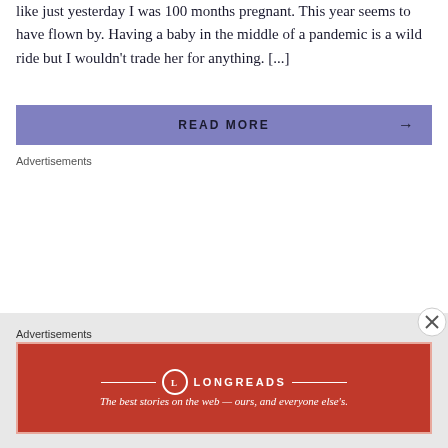like just yesterday I was 100 months pregnant. This year seems to have flown by. Having a baby in the middle of a pandemic is a wild ride but I wouldn't trade her for anything. [...]
READ MORE →
Advertisements
Advertisements
[Figure (infographic): Longreads advertisement banner: red background with white border, Longreads logo (L in circle), tagline 'The best stories on the web — ours, and everyone else's.']
[Figure (other): Close/dismiss button (X in circle) at bottom right]